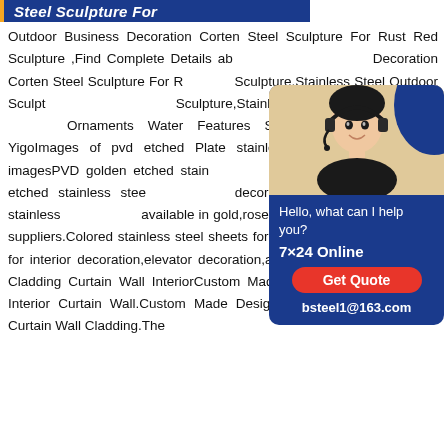Steel Sculpture For
Outdoor Business Decoration Corten Steel Sculpture For Rust Red Sculpture ,Find Complete Details about Outdoor Business Decoration Corten Steel Sculpture For Rust Red Sculpture,Stainless Steel Outdoor Sculpture,Stainless Steel Sculpture,Stainless Steel Sculpture from Garden Ornaments Water Features Supplier or Manufacturer-Yigo Images of pvd etched Plate stainless steel interior Decorat imagesPVD golden etched stainless steel sheet interior PVD golden etched stainless steel sheet wall decoration .PVD-coated colored stainless steel sheets available in gold,rose gold,and black super-mirror suppliers.Colored stainless steel sheets for decoration are mainly used for interior decoration,elevator decoration,andHot Item Aluminum Wall Cladding Curtain Wall InteriorCustom Made Design Aluminum Panel Interior Curtain Wall.Custom Made Design Aluminum Panel Interior Curtain Wall Cladding.The
[Figure (photo): Chat widget showing a customer service representative wearing a headset, with text 'Hello, what can I help you?', '7x24 Online', 'Get Quote' button, and 'bsteel1@163.com']